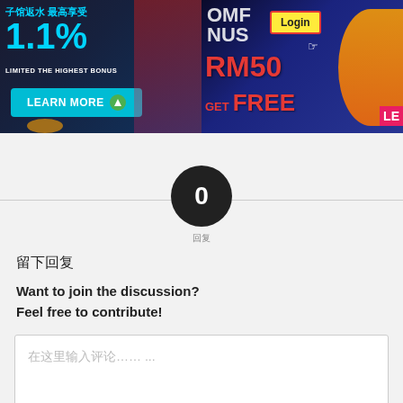[Figure (screenshot): Left casino banner ad with Chinese text '子馆返水 最高享受', '1.1%', 'LIMITED THE HIGHEST BONUS', and 'LEARN MORE' button with cyan color scheme]
[Figure (screenshot): Right casino banner ad with 'Login' button, 'RM50 GET FREE' text in red, coins image, dark blue background]
0
回复
留下回复
Want to join the discussion?
Feel free to contribute!
在这里输入评论……  ...